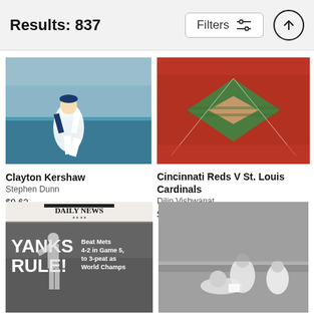Results: 837
[Figure (photo): Clayton Kershaw pitching in Dodgers uniform]
Clayton Kershaw
Stephen Dunn
$9.62
[Figure (photo): Aerial view of baseball stadium during Cincinnati Reds V St. Louis Cardinals game]
Cincinnati Reds V St. Louis Cardinals
Dilip Vishwanat
$9.62
[Figure (photo): Daily News front page: YANKS RULE! Beat Mets 4-2 in Game 5, to 3-peat as World Champs]
[Figure (photo): Black and white photo of baseball players at a base]